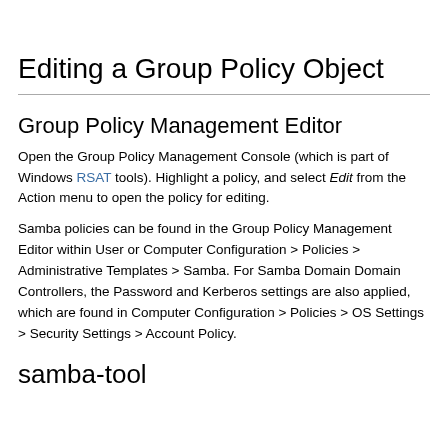Editing a Group Policy Object
Group Policy Management Editor
Open the Group Policy Management Console (which is part of Windows RSAT tools). Highlight a policy, and select Edit from the Action menu to open the policy for editing.
Samba policies can be found in the Group Policy Management Editor within User or Computer Configuration > Policies > Administrative Templates > Samba. For Samba Domain Controllers, the Password and Kerberos settings are also applied, which are found in Computer Configuration > Policies > OS Settings > Security Settings > Account Policy.
samba-tool